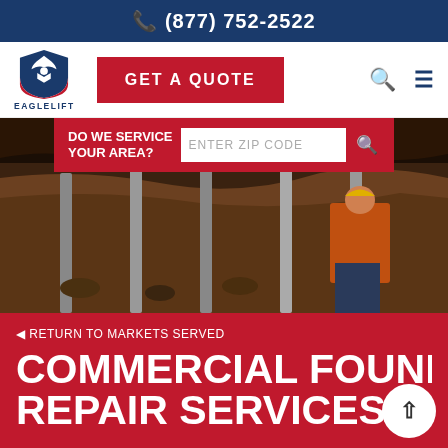(877) 752-2522
[Figure (logo): EagleLift eagle shield logo with text EAGLELIFT]
GET A QUOTE
DO WE SERVICE YOUR AREA? ENTER ZIP CODE
[Figure (photo): Workers installing foundation piers or piles under a structure, soil and excavation visible, worker in orange high-vis vest]
◄ RETURN TO MARKETS SERVED
COMMERCIAL FOUNDATIO...
REPAIR SERVICES